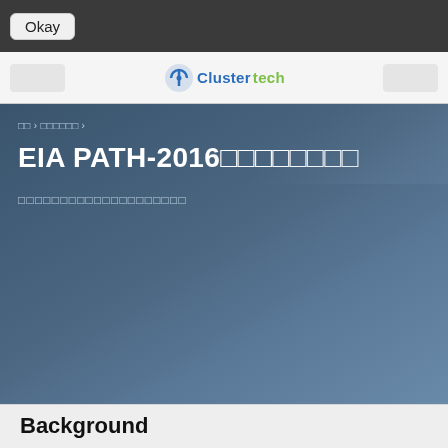Okay
[Figure (logo): ClusterTech logo with circular icon and company name in blue and green text]
ホーム ▸ ソリューション ▸
EIA PATH-2016によるパス解析
パス解析ソリューションの詳細情報はこちら
Background